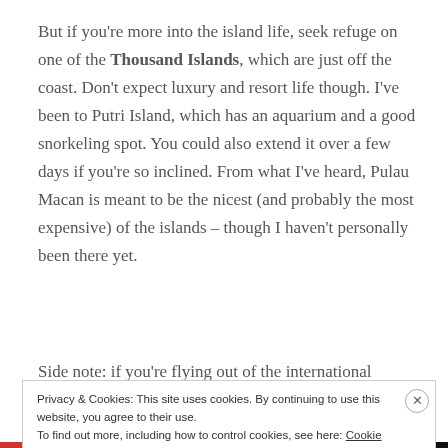But if you're more into the island life, seek refuge on one of the Thousand Islands, which are just off the coast. Don't expect luxury and resort life though. I've been to Putri Island, which has an aquarium and a good snorkeling spot. You could also extend it over a few days if you're so inclined. From what I've heard, Pulau Macan is meant to be the nicest (and probably the most expensive) of the islands – though I haven't personally been there yet.
Side note: if you're flying out of the international
Privacy & Cookies: This site uses cookies. By continuing to use this website, you agree to their use.
To find out more, including how to control cookies, see here: Cookie Policy
Close and accept